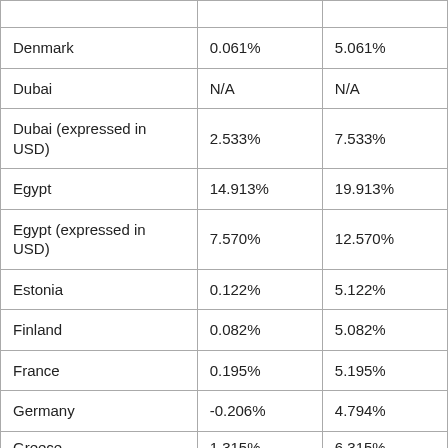|  |  |  |
| Denmark | 0.061% | 5.061% |
| Dubai | N/A | N/A |
| Dubai (expressed in USD) | 2.533% | 7.533% |
| Egypt | 14.913% | 19.913% |
| Egypt (expressed in USD) | 7.570% | 12.570% |
| Estonia | 0.122% | 5.122% |
| Finland | 0.082% | 5.082% |
| France | 0.195% | 5.195% |
| Germany | -0.206% | 4.794% |
| Greece | 1.315% | 6.315% |